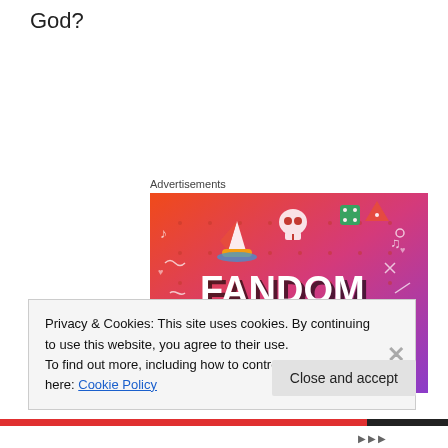God?
Advertisements
[Figure (illustration): Colorful Fandom on Tumblr advertisement banner with gradient background from orange to purple, featuring cartoon icons (sailboat, skull, dice, musical notes, arrows) and large bold text reading FANDOM ON tumblr]
Privacy & Cookies: This site uses cookies. By continuing to use this website, you agree to their use.
To find out more, including how to control cookies, see here: Cookie Policy
Close and accept